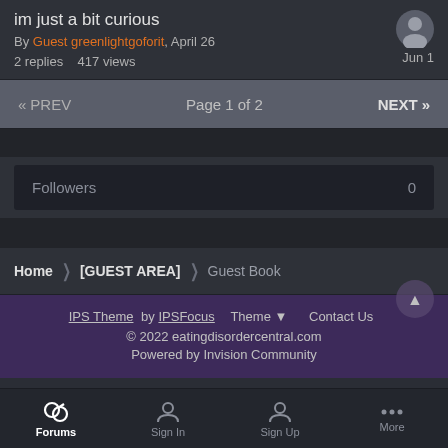im just a bit curious
By Guest greenlightgoforit, April 26
2 replies   417 views
Jun 1
« PREV   Page 1 of 2   NEXT »
Followers  0
Home  [GUEST AREA]  Guest Book
IPS Theme by IPSFocus  Theme ▼  Contact Us
© 2022 eatingdisordercentral.com
Powered by Invision Community
Forums  Sign In  Sign Up  More